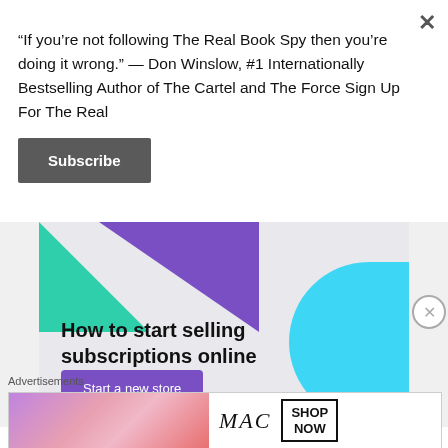“If you’re not following The Real Book Spy then you’re doing it wrong.” — Don Winslow, #1 Internationally Bestselling Author of The Cartel and The Force Sign Up For The Real
Subscribe
[Figure (infographic): Advertisement banner with green and purple triangles and blue arc shape, headline 'How to start selling subscriptions online', purple 'Start a new store' button]
Advertisements
[Figure (photo): MAC cosmetics advertisement showing lipsticks in purple, pink, and red colors with MAC logo and 'SHOP NOW' text]